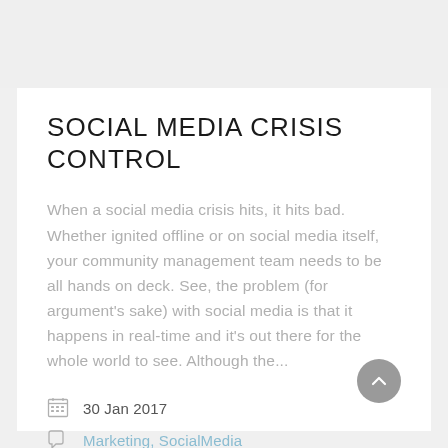SOCIAL MEDIA CRISIS CONTROL
When a social media crisis hits, it hits bad. Whether ignited offline or on social media itself, your community management team needs to be all hands on deck. See, the problem (for argument's sake) with social media is that it happens in real-time and it's out there for the whole world to see. Although the...
30 Jan 2017
Marketing, SocialMedia